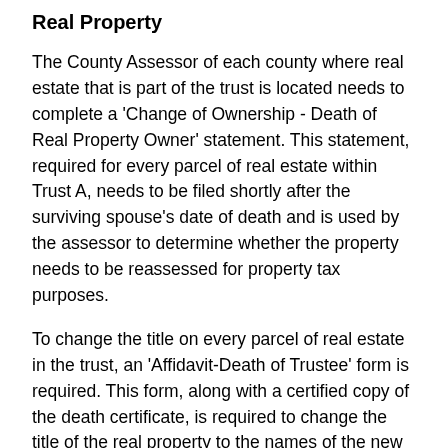Real Property
The County Assessor of each county where real estate that is part of the trust is located needs to complete a 'Change of Ownership - Death of Real Property Owner' statement. This statement, required for every parcel of real estate within Trust A, needs to be filed shortly after the surviving spouse's date of death and is used by the assessor to determine whether the property needs to be reassessed for property tax purposes.
To change the title on every parcel of real estate in the trust, an 'Affidavit-Death of Trustee' form is required. This form, along with a certified copy of the death certificate, is required to change the title of the real property to the names of the new trustee or trustees.
This change of ownership triggers the necessity to file a 'preliminary change of ownership report' to the